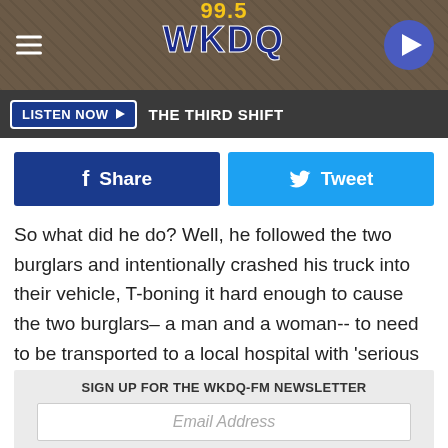[Figure (logo): 99.5 WKDQ radio station header with logo and hamburger menu and play button]
LISTEN NOW ▶  THE THIRD SHIFT
Share   Tweet
So what did he do? Well, he followed the two burglars and intentionally crashed his truck into their vehicle, T-boning it hard enough to cause the two burglars– a man and a woman-- to need to be transported to a local hospital with 'serious but not life-threatening injuries,' the story said.
SIGN UP FOR THE WKDQ-FM NEWSLETTER
Email Address
Wow! I understand his frustration. Seeing someone steal